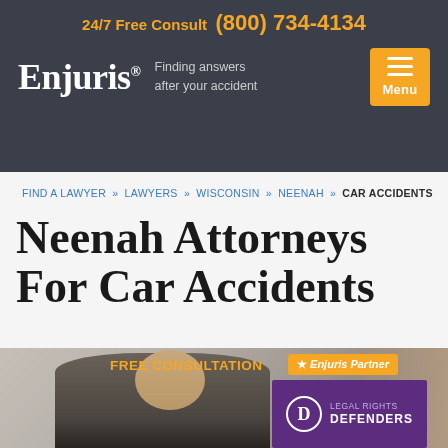24/7 Free Consult (800) 734-4134
[Figure (logo): Enjuris logo with tagline 'Finding answers after your accident' and orange menu button]
FIND A LAWYER » LAWYERS » WISCONSIN » NEENAH » CAR ACCIDENTS
Neenah Attorneys For Car Accidents
[Figure (photo): Professional woman smiling in business attire, with FREE CONSULTATION label, Enjuris Partner badge, and Legal Rights Defenders firm logo overlay]